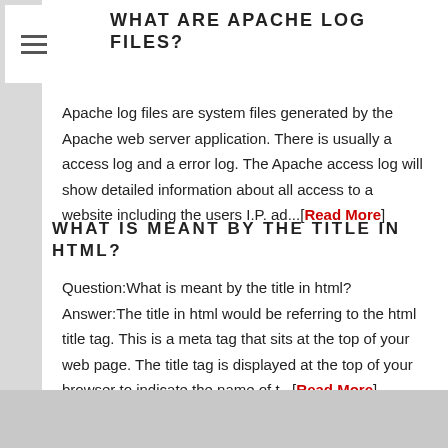WHAT ARE APACHE LOG FILES?
Apache log files are system files generated by the Apache web server application. There is usually a access log and a error log. The Apache access log will show detailed information about all access to a website including the users I.P. ad...[Read More]
WHAT IS MEANT BY THE TITLE IN HTML?
Question:What is meant by the title in html? Answer:The title in html would be referring to the html title tag. This is a meta tag that sits at the top of your web page. The title tag is displayed at the top of your browser to indicate the name of t...[Read More]